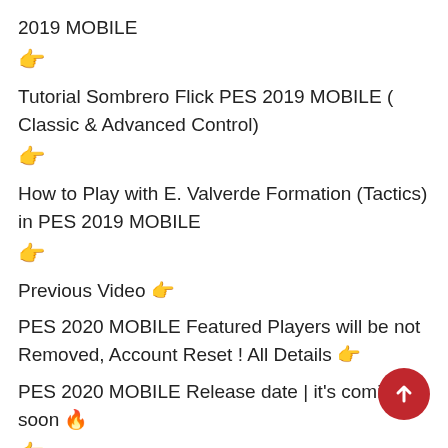2019 MOBILE
👉
Tutorial Sombrero Flick PES 2019 MOBILE ( Classic & Advanced Control)
👉
How to Play with E. Valverde Formation (Tactics) in PES 2019 MOBILE
👉
Previous Video 👉
PES 2020 MOBILE Featured Players will be not Removed, Account Reset ! All Details 👉
PES 2020 MOBILE Release date | it's coming soon 🔥
👉